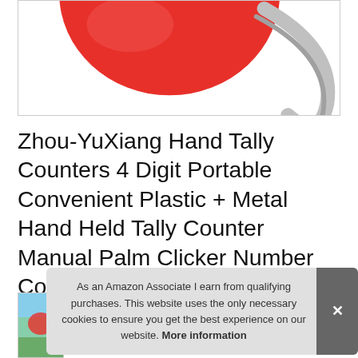[Figure (photo): Partial view of a red and silver hand tally counter product image on white background]
Zhou-YuXiang Hand Tally Counters 4 Digit Portable Convenient Plastic + Metal Hand Held Tally Counter Manual Palm Clicker Number Counting Golf
[Figure (photo): Small thumbnail image of a product, partially visible, appears to show a green outdoor scene]
As an Amazon Associate I earn from qualifying purchases. This website uses the only necessary cookies to ensure you get the best experience on our website. More information